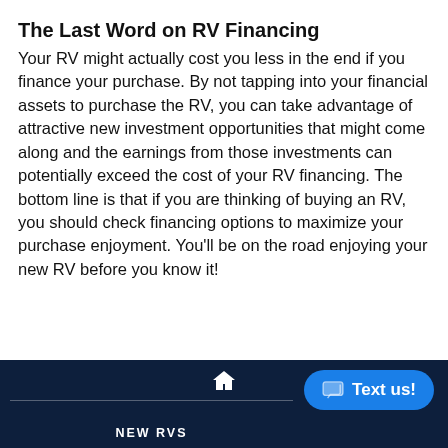The Last Word on RV Financing
Your RV might actually cost you less in the end if you finance your purchase. By not tapping into your financial assets to purchase the RV, you can take advantage of attractive new investment opportunities that might come along and the earnings from those investments can potentially exceed the cost of your RV financing. The bottom line is that if you are thinking of buying an RV, you should check financing options to maximize your purchase enjoyment. You'll be on the road enjoying your new RV before you know it!
NEW RVS